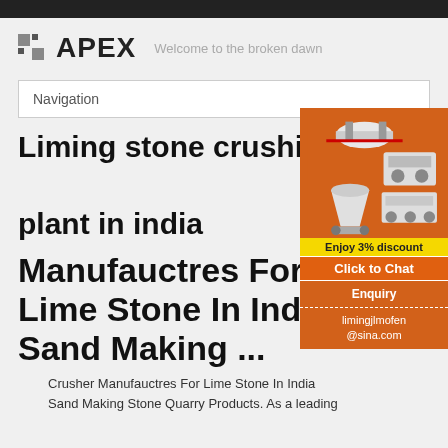APEX — Welcome to the broken dawn
Navigation
Liming stone crushing plant in india
Manufauctres For Lime Stone In India Sand Making ...
[Figure (illustration): Orange sidebar advertisement showing mining/crushing machinery, 'Enjoy 3% discount', 'Click to Chat', 'Enquiry', and 'limingjlmofen@sina.com']
Crusher Manufauctres For Lime Stone In India Sand Making Stone Quarry Products. As a leading